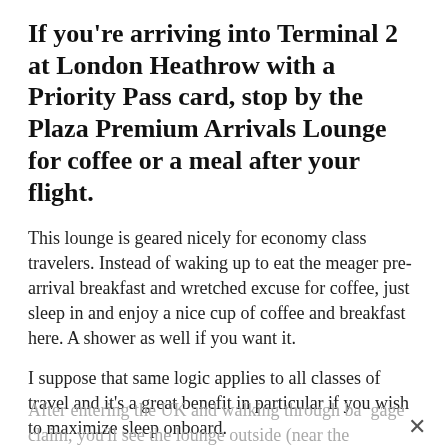If you're arriving into Terminal 2 at London Heathrow with a Priority Pass card, stop by the Plaza Premium Arrivals Lounge for coffee or a meal after your flight.
This lounge is geared nicely for economy class travelers. Instead of waking up to eat the meager pre-arrival breakfast and wretched excuse for coffee, just sleep in and enjoy a nice cup of coffee and breakfast here. A shower as well if you want it.
I suppose that same logic applies to all classes of travel and it's a great benefit in particular if you wish to maximize sleep onboard.
After entering the UK and walking through baggage claim, you'll see the lounge outside (near the …